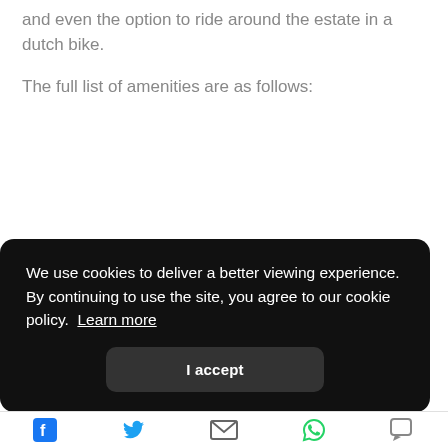and even the option to ride around the estate in a dutch bike.
The full list of amenities are as follows:
We use cookies to deliver a better viewing experience. By continuing to use the site, you agree to our cookie policy. Learn more
I accept